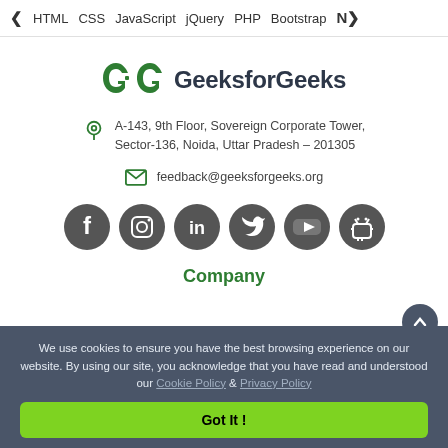< HTML  CSS  JavaScript  jQuery  PHP  Bootstrap  N>
[Figure (logo): GeeksforGeeks logo with two green interlocked G shapes]
GeeksforGeeks
A-143, 9th Floor, Sovereign Corporate Tower, Sector-136, Noida, Uttar Pradesh – 201305
feedback@geeksforgeeks.org
[Figure (infographic): Social media icons: Facebook, Instagram, LinkedIn, Twitter, YouTube, Android]
Company
We use cookies to ensure you have the best browsing experience on our website. By using our site, you acknowledge that you have read and understood our Cookie Policy & Privacy Policy
Got It !